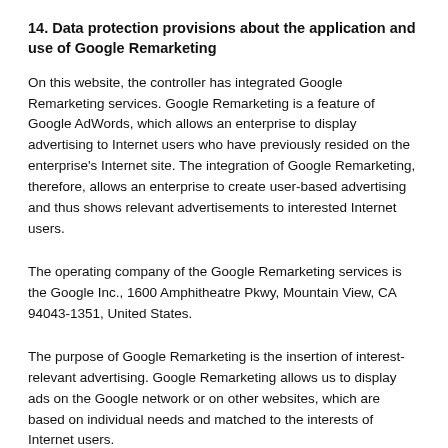14. Data protection provisions about the application and use of Google Remarketing
On this website, the controller has integrated Google Remarketing services. Google Remarketing is a feature of Google AdWords, which allows an enterprise to display advertising to Internet users who have previously resided on the enterprise's Internet site. The integration of Google Remarketing, therefore, allows an enterprise to create user-based advertising and thus shows relevant advertisements to interested Internet users.
The operating company of the Google Remarketing services is the Google Inc., 1600 Amphitheatre Pkwy, Mountain View, CA 94043-1351, United States.
The purpose of Google Remarketing is the insertion of interest-relevant advertising. Google Remarketing allows us to display ads on the Google network or on other websites, which are based on individual needs and matched to the interests of Internet users.